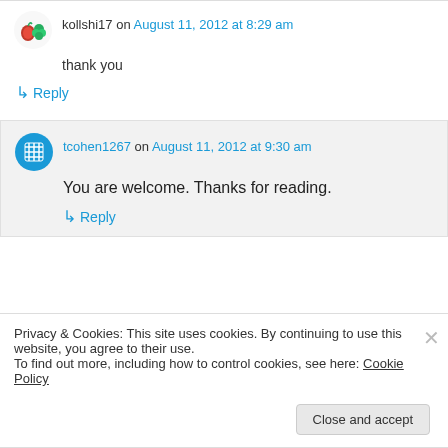kollshi17 on August 11, 2012 at 8:29 am
thank you
↳ Reply
tcohen1267 on August 11, 2012 at 9:30 am
You are welcome. Thanks for reading.
↳ Reply
Privacy & Cookies: This site uses cookies. By continuing to use this website, you agree to their use.
To find out more, including how to control cookies, see here: Cookie Policy
Close and accept